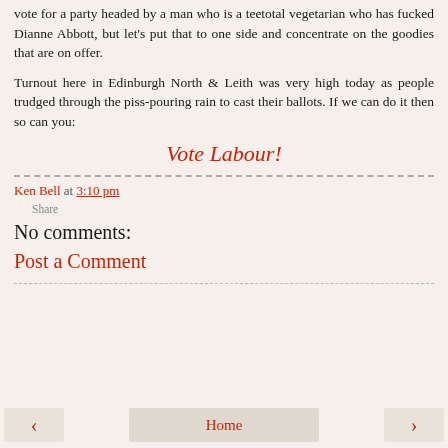vote for a party headed by a man who is a teetotal vegetarian who has fucked Dianne Abbott, but let's put that to one side and concentrate on the goodies that are on offer.
Turnout here in Edinburgh North & Leith was very high today as people trudged through the piss-pouring rain to cast their ballots. If we can do it then so can you:
Vote Labour!
Ken Bell at 3:10 pm
Share
No comments:
Post a Comment
‹  Home  ›